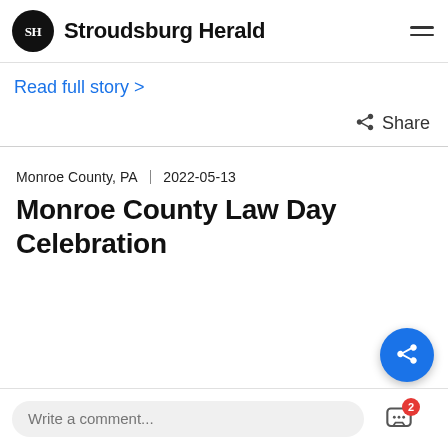Stroudsburg Herald
Read full story >
Share
Monroe County, PA | 2022-05-13
Monroe County Law Day Celebration
Write a comment...